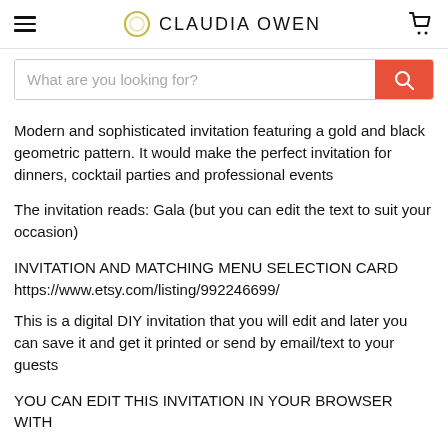CLAUDIA OWEN
[Figure (screenshot): Search bar with red search button]
Modern and sophisticated invitation featuring a gold and black geometric pattern. It would make the perfect invitation for dinners, cocktail parties and professional events
The invitation reads: Gala (but you can edit the text to suit your occasion)
INVITATION AND MATCHING MENU SELECTION CARD
https://www.etsy.com/listing/992246699/
This is a digital DIY invitation that you will edit and later you can save it and get it printed or send by email/text to your guests
YOU CAN EDIT THIS INVITATION IN YOUR BROWSER WITH